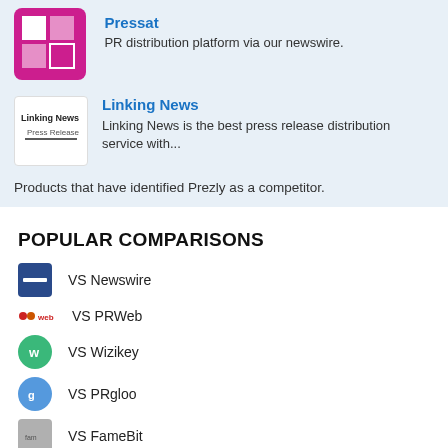[Figure (logo): Pressat logo - pink/magenta square with white overlapping squares]
Pressat
PR distribution platform via our newswire.
[Figure (logo): Linking News Press Release logo]
Linking News
Linking News is the best press release distribution service with...
Products that have identified Prezly as a competitor.
POPULAR COMPARISONS
VS Newswire
VS PRWeb
VS Wizikey
VS PRgloo
VS FameBit
VS Configio